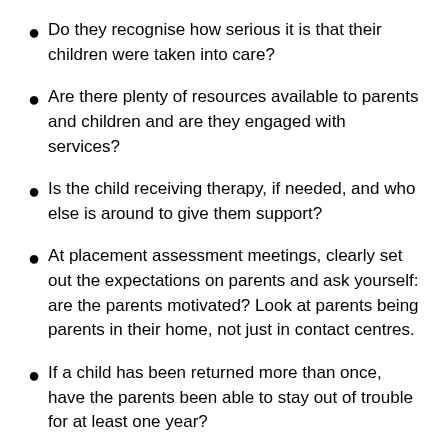Do they recognise how serious it is that their children were taken into care?
Are there plenty of resources available to parents and children and are they engaged with services?
Is the child receiving therapy, if needed, and who else is around to give them support?
At placement assessment meetings, clearly set out the expectations on parents and ask yourself: are the parents motivated? Look at parents being parents in their home, not just in contact centres.
If a child has been returned more than once, have the parents been able to stay out of trouble for at least one year?
Source: Indeep Sethi, senior practitioner, Camden Council's looked-after children team